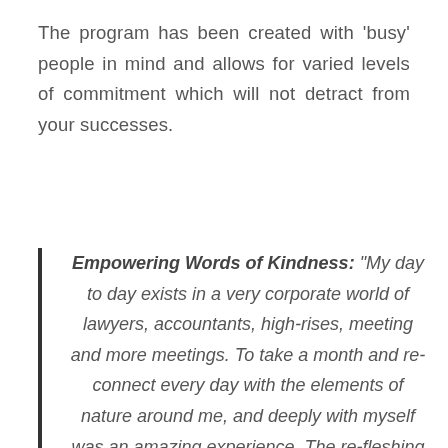The program has been created with 'busy' people in mind and allows for varied levels of commitment which will not detract from your successes.
Empowering Words of Kindness: "My day to day exists in a very corporate world of lawyers, accountants, high-rises, meeting and more meetings. To take a month and re-connect every day with the elements of nature around me, and deeply with myself was an amazing experience. The re-fleshing clarity that came to me as quickly as a few days into